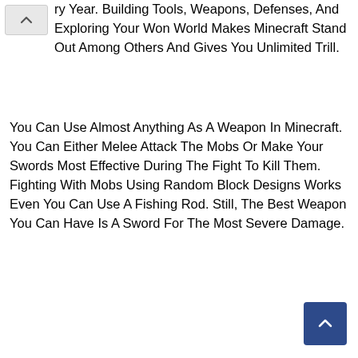ry Year. Building Tools, Weapons, Defenses, And Exploring Your Won World Makes Minecraft Stand Out Among Others And Gives You Unlimited Trill.
You Can Use Almost Anything As A Weapon In Minecraft. You Can Either Melee Attack The Mobs Or Make Your Swords Most Effective During The Fight To Kill Them. Fighting With Mobs Using Random Block Designs Works Even You Can Use A Fishing Rod. Still, The Best Weapon You Can Have Is A Sword For The Most Severe Damage.